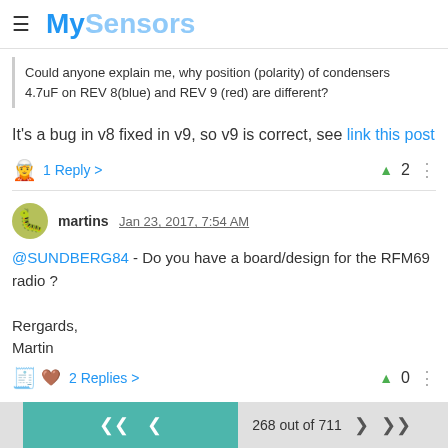MySensors
Could anyone explain me, why position (polarity) of condensers 4.7uF on REV 8(blue) and REV 9 (red) are different?
It's a bug in v8 fixed in v9, so v9 is correct, see link this post
1 Reply  ▲ 2
martins  Jan 23, 2017, 7:54 AM
@SUNDBERG84 - Do you have a board/design for the RFM69 radio ?

Rergards,
Martin
2 Replies  ▲ 0
268 out of 711